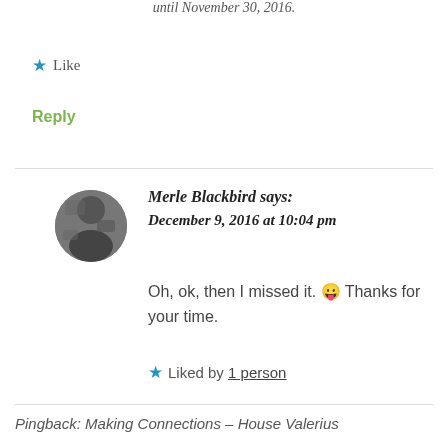until November 30, 2016.
★ Like
Reply
Merle Blackbird says:
December 9, 2016 at 10:04 pm
Oh, ok, then I missed it. 😛 Thanks for your time.
★ Liked by 1 person
Pingback: Making Connections – House Valerius